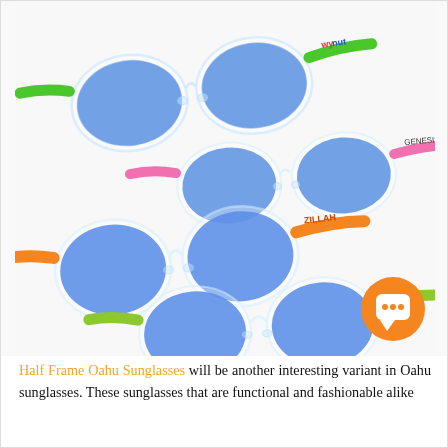[Figure (photo): Four pairs of Oahu wayfarer-style sunglasses with clear/translucent frames and colored arms: green (top left), pink (top right), orange (middle left), and lime green (bottom right). Each pair has blue mirrored lenses and a logo/text on the arm. An orange chat button icon is visible in the lower right of the photo area.]
Half Frame Oahu Sunglasses will be another interesting variant in Oahu sunglasses. These sunglasses that are functional and fashionable alike